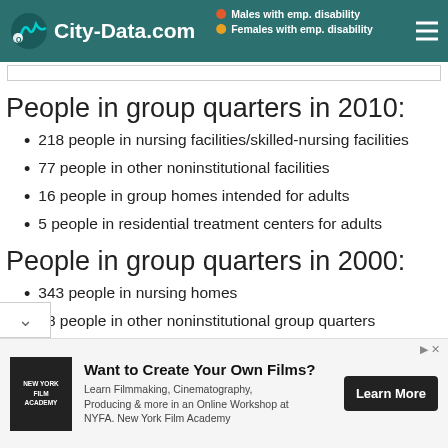City-Data.com
People in group quarters in 2010:
218 people in nursing facilities/skilled-nursing facilities
77 people in other noninstitutional facilities
16 people in group homes intended for adults
5 people in residential treatment centers for adults
People in group quarters in 2000:
343 people in nursing homes
28 people in other noninstitutional group quarters
people in homes for the mentally ill